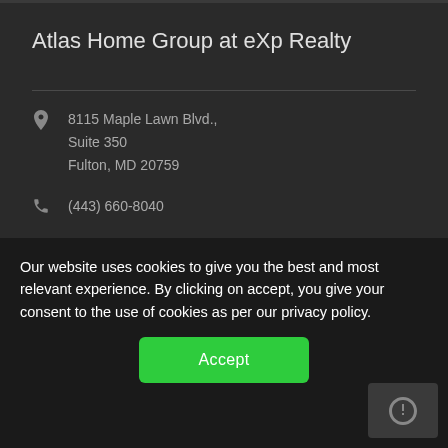Atlas Home Group at eXp Realty
8115 Maple Lawn Blvd., Suite 350 Fulton, MD 20759
(443) 660-8040
Broker (888) 860-7369
Our Areas of Service Include
Our website uses cookies to give you the best and most relevant experience. By clicking on accept, you give your consent to the use of cookies as per our privacy policy.